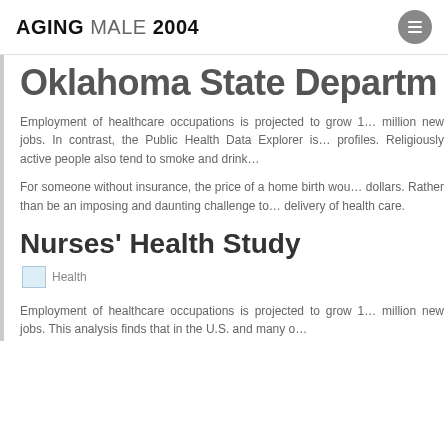AGING MALE 2004
Oklahoma State Departm…
Employment of healthcare occupations is projected to grow 1… million new jobs. In contrast, the Public Health Data Explorer is… profiles. Religiously active people also tend to smoke and drink…
For someone without insurance, the price of a home birth wou… dollars. Rather than be an imposing and daunting challenge to… delivery of health care.
Nurses' Health Study
[Figure (photo): Health image placeholder with broken image icon and alt text 'Health']
Employment of healthcare occupations is projected to grow 1… million new jobs. This analysis finds that in the U.S. and many o…